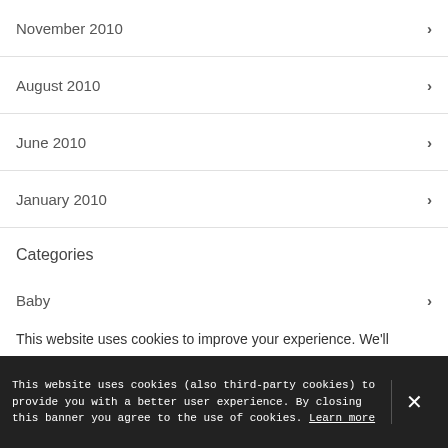November 2010
August 2010
June 2010
January 2010
Categories
Baby
Baby PR
This website uses cookies to improve your experience. We'll
This website uses cookies (also third-party cookies) to provide you with a better user experience. By closing this banner you agree to the use of cookies. Learn more